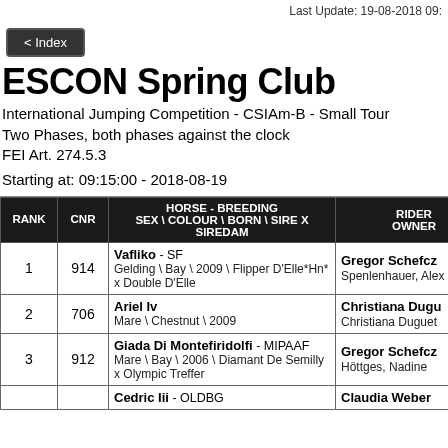Last Update: 19-08-2018 09:
< Index
ESCON Spring Club
International Jumping Competition - CSIAm-B - Small Tour
Two Phases, both phases against the clock
FEI Art. 274.5.3
Starting at: 09:15:00 - 2018-08-19
| RANK | CNR | HORSE - BREEDING
SEX \ COLOUR \ BORN \ SIRE X SIREDAM | RIDER
OWNER |
| --- | --- | --- | --- |
| 1 | 914 | Vafliko - SF
Gelding \ Bay \ 2009 \ Flipper D'Elle*Hn* x Double D'Elle | Gregor Schefcz
Spenlenhauer, Alex |
| 2 | 706 | Ariel Iv
Mare \ Chestnut \ 2009 | Christiana Dugu
Christiana Duguet |
| 3 | 912 | Giada Di Montefiridolfi - MIPAAF
Mare \ Bay \ 2006 \ Diamant De Semilly x Olympic Treffer | Gregor Schefcz
Höttges, Nadine |
|  |  | Cedric Iii - OLDBG | Claudia Weber |